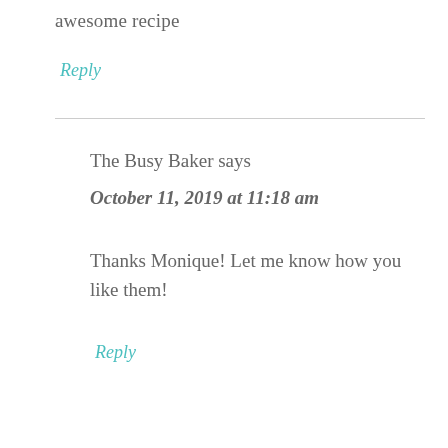awesome recipe
Reply
The Busy Baker says
October 11, 2019 at 11:18 am
Thanks Monique! Let me know how you like them!
Reply